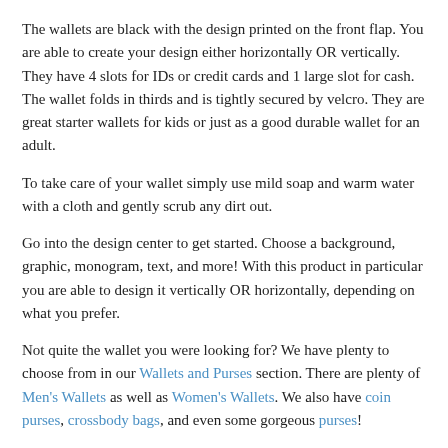The wallets are black with the design printed on the front flap. You are able to create your design either horizontally OR vertically. They have 4 slots for IDs or credit cards and 1 large slot for cash. The wallet folds in thirds and is tightly secured by velcro. They are great starter wallets for kids or just as a good durable wallet for an adult.
To take care of your wallet simply use mild soap and warm water with a cloth and gently scrub any dirt out.
Go into the design center to get started. Choose a background, graphic, monogram, text, and more! With this product in particular you are able to design it vertically OR horizontally, depending on what you prefer.
Not quite the wallet you were looking for? We have plenty to choose from in our Wallets and Purses section. There are plenty of Men's Wallets as well as Women's Wallets. We also have coin purses, crossbody bags, and even some gorgeous purses!
Features:
Double stitched canvas for extra durability